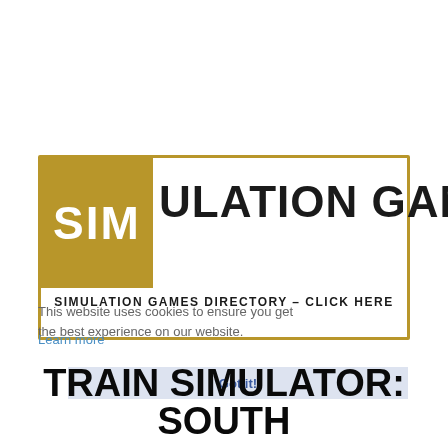[Figure (logo): Simulation Games logo banner: gold square with 'SIM' in white bold text, followed by 'ULATION GAMES' in large black bold text, with 'SIMULATION GAMES DIRECTORY – CLICK HERE' subtitle below. Gold border around white rectangle.]
This website uses cookies to ensure you get the best experience on our website.
Learn more
Got it!
TRAIN SIMULATOR: SOUTH